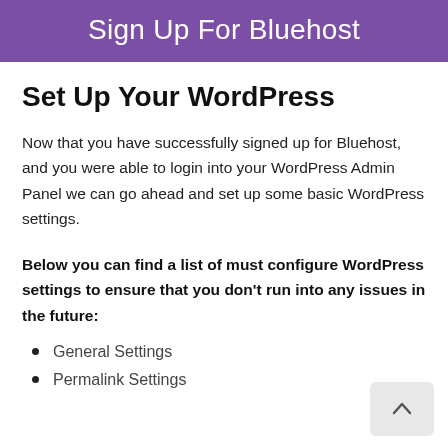Sign Up For Bluehost
Set Up Your WordPress
Now that you have successfully signed up for Bluehost, and you were able to login into your WordPress Admin Panel we can go ahead and set up some basic WordPress settings.
Below you can find a list of must configure WordPress settings to ensure that you don't run into any issues in the future:
General Settings
Permalink Settings